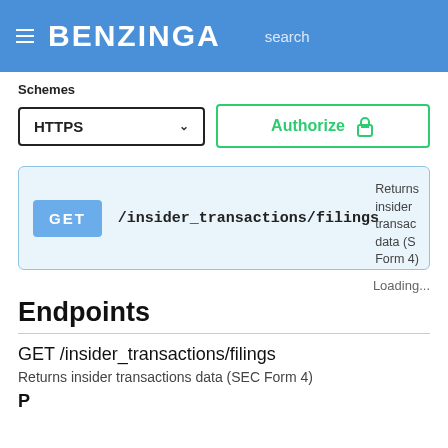BENZINGA  search
Schemes
HTTPS
Authorize
[Figure (screenshot): API endpoint block showing GET /insider_transactions/filings with description: Returns insider transactions data (SEC Form 4)]
Loading...
Endpoints
GET /insider_transactions/filings
Returns insider transactions data (SEC Form 4)
Parameters